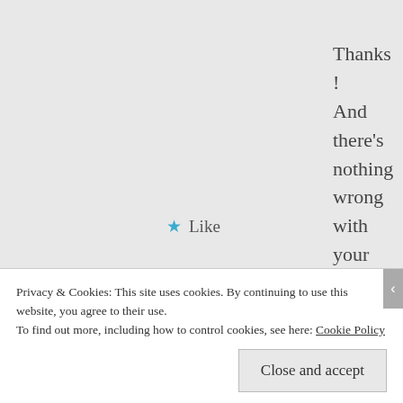Thanks ! And there's nothing wrong with your layout ! The kitty template is so cute xDDD You did a good job fitting the images on both sides ^^
★ Like
Reply
Privacy & Cookies: This site uses cookies. By continuing to use this website, you agree to their use.
To find out more, including how to control cookies, see here: Cookie Policy
Close and accept